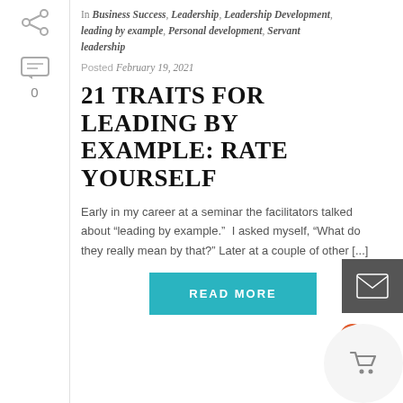In Business Success, Leadership, Leadership Development, leading by example, Personal development, Servant leadership
Posted February 19, 2021
21 TRAITS FOR LEADING BY EXAMPLE: RATE YOURSELF
Early in my career at a seminar the facilitators talked about “leading by example.”  I asked myself, “What do they really mean by that?”  Later at a couple of other [...]
READ MORE